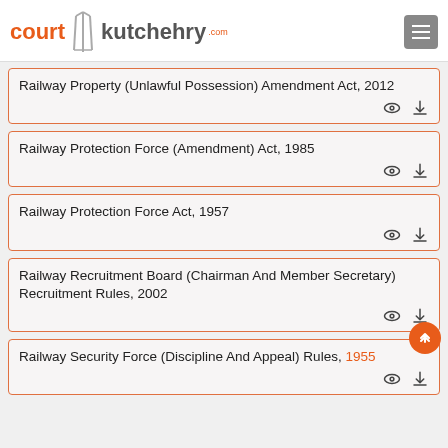courtkutchehry.com
Railway Property (Unlawful Possession) Amendment Act, 2012
Railway Protection Force (Amendment) Act, 1985
Railway Protection Force Act, 1957
Railway Recruitment Board (Chairman And Member Secretary) Recruitment Rules, 2002
Railway Security Force (Discipline And Appeal) Rules, 1955